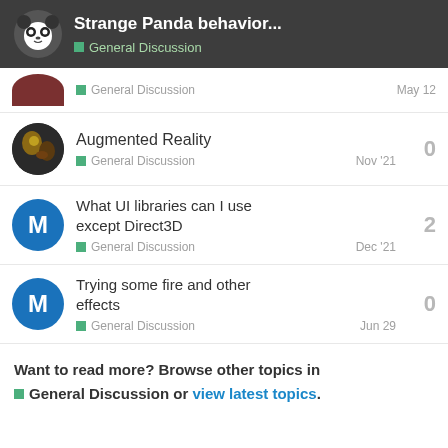Strange Panda behavior... — General Discussion
General Discussion — May 12
Augmented Reality — General Discussion — Nov '21 — 0 replies
What UI libraries can I use except Direct3D — General Discussion — Dec '21 — 2 replies
Trying some fire and other effects — General Discussion — Jun 29 — 0 replies
Want to read more? Browse other topics in General Discussion or view latest topics.